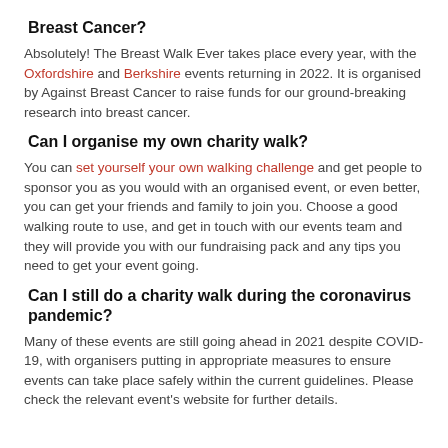Breast Cancer?
Absolutely! The Breast Walk Ever takes place every year, with the Oxfordshire and Berkshire events returning in 2022. It is organised by Against Breast Cancer to raise funds for our ground-breaking research into breast cancer.
Can I organise my own charity walk?
You can set yourself your own walking challenge and get people to sponsor you as you would with an organised event, or even better, you can get your friends and family to join you. Choose a good walking route to use, and get in touch with our events team and they will provide you with our fundraising pack and any tips you need to get your event going.
Can I still do a charity walk during the coronavirus pandemic?
Many of these events are still going ahead in 2021 despite COVID-19, with organisers putting in appropriate measures to ensure events can take place safely within the current guidelines. Please check the relevant event’s website for further details.